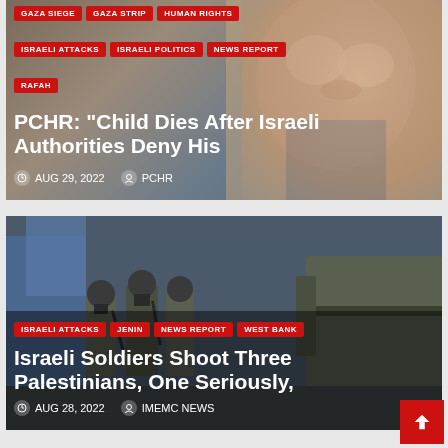[Figure (photo): Close-up photo of a young child/toddler with a soft background]
GAZA SIEGE
GAZA STRIP
HUMAN RIGHTS
ISRAELI ATTACKS
ISRAELI POLITICS
NEWS REPORT
RAFAH
PCHR: “Child Dies After Israeli Authorities Deny His
AUG 29, 2022   PCHR
[Figure (photo): Photo of Israeli soldiers in military gear on a street with armored vehicles]
ISRAELI ATTACKS
JENIN
NEWS REPORT
WEST BANK
Israeli Soldiers Shoot Three Palestinians, One Seriously,
AUG 28, 2022   IMEMC NEWS